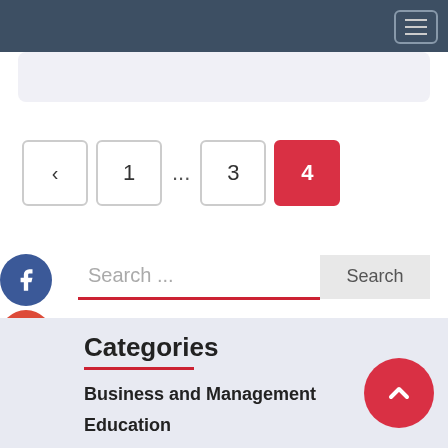Navigation bar with hamburger menu
[Figure (screenshot): Pagination controls showing back arrow, page 1, ellipsis, page 3, and active page 4 (red background)]
[Figure (infographic): Social media share buttons: Facebook (blue), Google+ (red), Twitter (blue), Plus/Add (dark blue)]
Search ...
Categories
Business and Management
Education
General